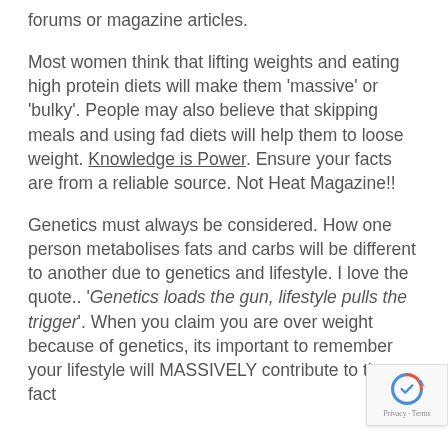forums or magazine articles.
Most women think that lifting weights and eating high protein diets will make them 'massive' or 'bulky'. People may also believe that skipping meals and using fad diets will help them to loose weight. Knowledge is Power. Ensure your facts are from a reliable source. Not Heat Magazine!!
Genetics must always be considered. How one person metabolises fats and carbs will be different to another due to genetics and lifestyle. I love the quote.. 'Genetics loads the gun, lifestyle pulls the trigger'. When you claim you are over weight because of genetics, its important to remember your lifestyle will MASSIVELY contribute to the fact